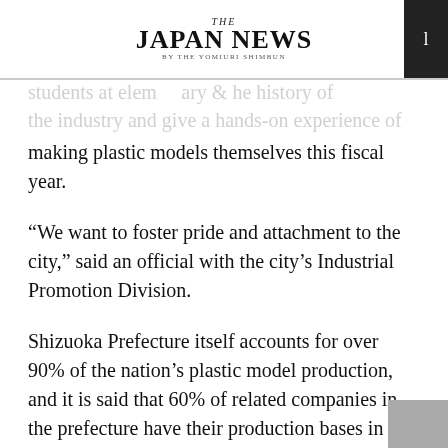THE JAPAN NEWS BY THE YOMIURI SHIMBUN
students at elementary and junior high schools to learn the history of the industry and give a hands-on experience of
making plastic models themselves this fiscal year.
“We want to foster pride and attachment to the city,” said an official with the city’s Industrial Promotion Division.
Shizuoka Prefecture itself accounts for over 90% of the nation’s plastic model production, and it is said that 60% of related companies in the prefecture have their production bases in Shizuoka City.
But diversifying entertainment options have taken a toll on the once-booming industry. In 2019, shipments from the prefecture totaled ¥22.258 billion, down about 40% from the peak of ¥36.4